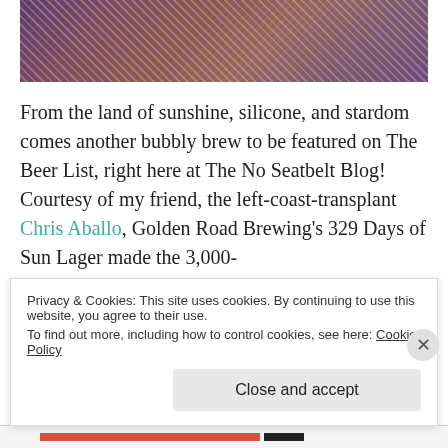[Figure (photo): Decorative textile or fabric with a diagonal weave pattern in purple, red, and beige tones]
From the land of sunshine, silicone, and stardom comes another bubbly brew to be featured on The Beer List, right here at The No Seatbelt Blog! Courtesy of my friend, the left-coast-transplant Chris Aballo, Golden Road Brewing's 329 Days of Sun Lager made the 3,000-
Privacy & Cookies: This site uses cookies. By continuing to use this website, you agree to their use.
To find out more, including how to control cookies, see here: Cookie Policy
Close and accept